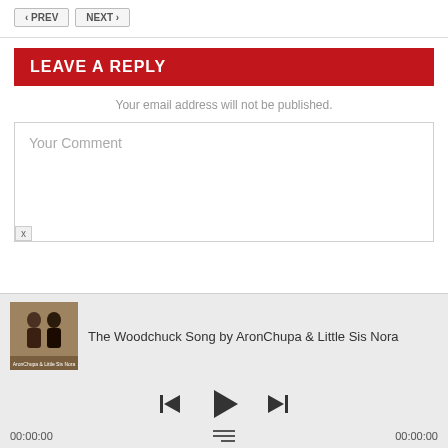[Figure (other): Navigation buttons: < PREV and NEXT >]
LEAVE A REPLY
Your email address will not be published.
Your Comment
[Figure (other): Music player showing album art for The Woodchuck Song, song title, playback controls (previous, play, next), and time display 00:00:00 / 00:00:00]